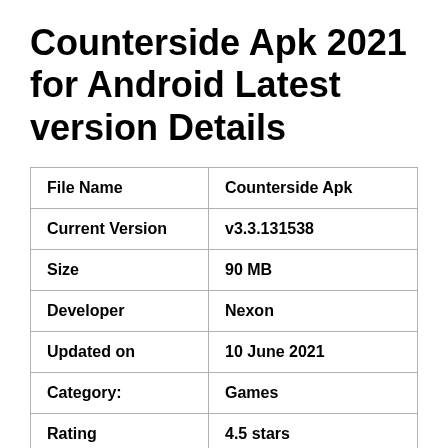Counterside Apk 2021 for Android Latest version Details
| File Name | Counterside Apk |
| --- | --- |
| Current Version | v3.3.131538 |
| Size | 90 MB |
| Developer | Nexon |
| Updated on | 10 June 2021 |
| Category: | Games |
| Rating | 4.5 stars |
| Requires | Android 5.0 and up |